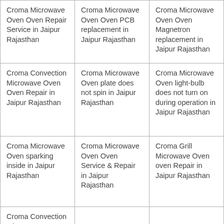| Croma Microwave Oven Oven Repair Service in Jaipur Rajasthan | Croma Microwave Oven Oven PCB replacement in Jaipur Rajasthan | Croma Microwave Oven Oven Magnetron replacement in Jaipur Rajasthan |
| Croma Convection Microwave Oven Oven Repair in Jaipur Rajasthan | Croma Microwave Oven plate does not spin in Jaipur Rajasthan | Croma Microwave Oven light-bulb does not turn on during operation in Jaipur Rajasthan |
| Croma Microwave Oven sparking inside in Jaipur Rajasthan | Croma Microwave Oven Oven Service & Repair in Jaipur Rajasthan | Croma Grill Microwave Oven oven Repair in Jaipur Rajasthan |
| Croma Convection Microwave Oven Repair in Jaipur Rajasthan |  |  |